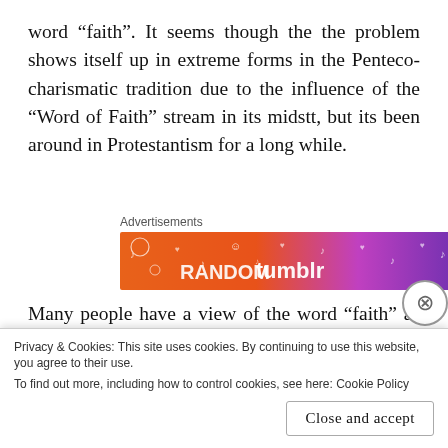word “faith”. It seems though the the problem shows itself up in extreme forms in the Pentecocharismatic tradition due to the influence of the “Word of Faith” stream in its midstt, but its been around in Protestantism for a long while.
Advertisements
[Figure (other): Colorful advertisement banner with orange-to-purple gradient background with white illustrated doodles and text reading 'tumblr']
Many people have a view of the word “faith” as mental certainty which works according how much of it one has. As a result, people are taught that
Privacy & Cookies: This site uses cookies. By continuing to use this website, you agree to their use.
To find out more, including how to control cookies, see here: Cookie Policy
Close and accept